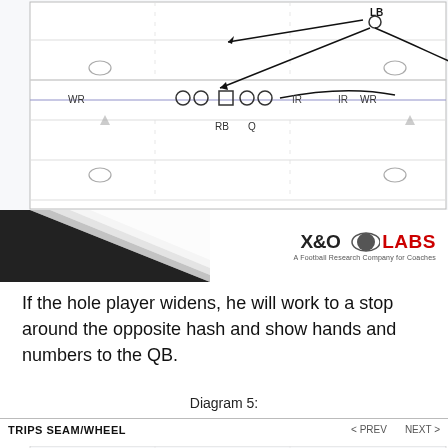[Figure (schematic): Football play diagram showing offensive formation with WR on both sides, OL in center (circles and square), RB and Q behind line, IR labels, and LB with arrow paths indicating linebacker movement toward opposite hash]
[Figure (logo): X&O LABS logo - A Football Research Company for Coaches - with decorative diagonal black/gray banner graphic]
If the hole player widens, he will work to a stop around the opposite hash and show hands and numbers to the QB.
Diagram 5:
TRIPS SEAM/WHEEL
[Figure (schematic): Partial football field diagram at bottom of page showing hash marks and yard lines, beginning of new play diagram]